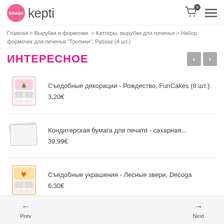[Figure (logo): Smaqu Kepti logo with pink circle and text]
Главная > Вырубки и формочки > Каттеры, вырубки для печенья > Набор формочек для печенья "Тропики", Patisse (4 шт.)
ИНТЕРЕСНОЕ
Съедобные декорации - Рождество, FunCakes (8 шт.) 3,20€
Кондитерская бумага для печати - сахарная... 39,99€
Съедобные украшения - Лесные звери, Decoga 6,30€
Prev  Next